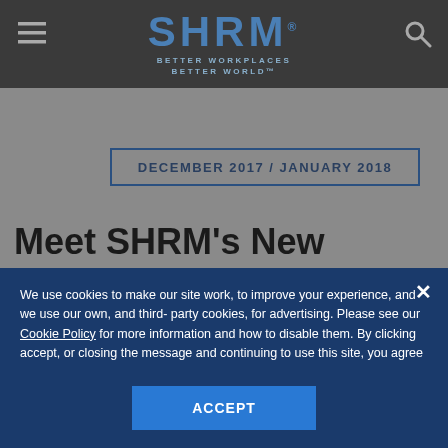SHRM — BETTER WORKPLACES BETTER WORLD™
DECEMBER 2017 / JANUARY 2018
Meet SHRM's New
We use cookies to make our site work, to improve your experience, and we use our own, and third-party cookies, for advertising. Please see our Cookie Policy for more information and how to disable them. By clicking accept, or closing the message and continuing to use this site, you agree to our use of cookies.
ACCEPT